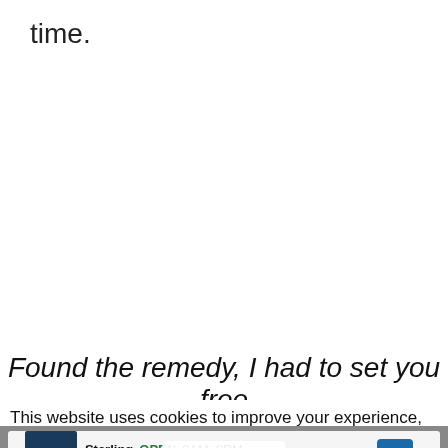time.
Found the remedy, I had to set you free
This website uses cookies to improve your experience, but you
[Figure (other): Petco advertisement banner showing Sterling location, OPEN 9AM-8PM, 22000 Dulles Retail Plaza #110, Ste, with navigation arrow icon and close button, overlaid with Share This button]